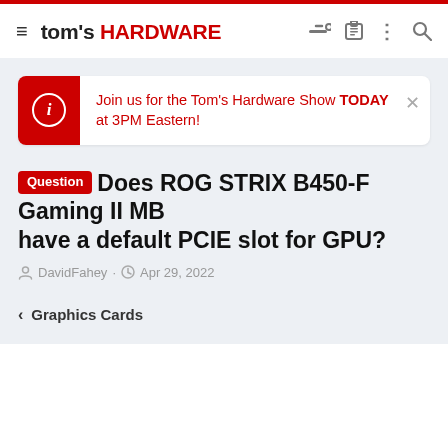tom's HARDWARE
Join us for the Tom's Hardware Show TODAY at 3PM Eastern!
Question Does ROG STRIX B450-F Gaming II MB have a default PCIE slot for GPU?
DavidFahey · Apr 29, 2022
< Graphics Cards